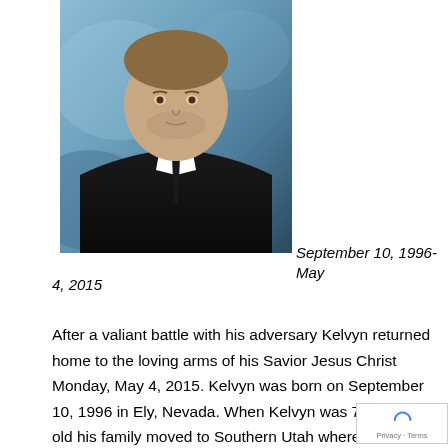[Figure (photo): Portrait photo of a young man wearing a black suit and tie with a white dress shirt, against a blue-grey background. Formal/school photo style.]
September 10, 1996-May 4, 2015
After a valiant battle with his adversary Kelvyn returned home to the loving arms of his Savior Jesus Christ Monday, May 4, 2015. Kelvyn was born on September 10, 1996 in Ely, Nevada. When Kelvyn was 7 months old his family moved to Southern Utah where he resided with his mom, Terasa until July, 01